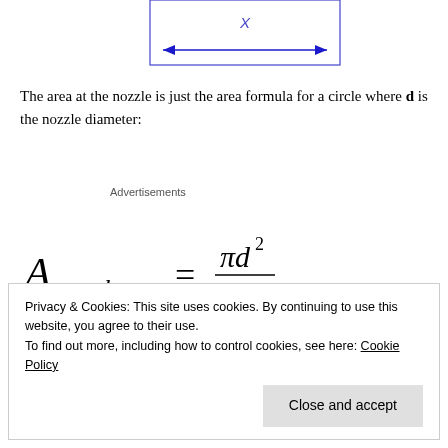[Figure (engineering-diagram): Dimension line with arrow heads pointing left and right labeled X, inside a rectangular outline, showing a horizontal measurement span]
The area at the nozzle is just the area formula for a circle where d is the nozzle diameter:
Advertisements
Privacy & Cookies: This site uses cookies. By continuing to use this website, you agree to their use.
To find out more, including how to control cookies, see here: Cookie Policy
Close and accept